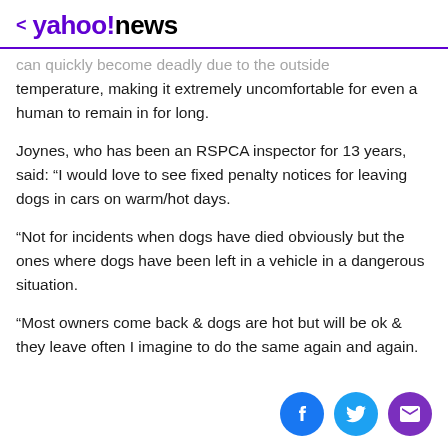< yahoo!news
...can quickly become deadly due to the outside temperature, making it extremely uncomfortable for even a human to remain in for long.
Joynes, who has been an RSPCA inspector for 13 years, said: “I would love to see fixed penalty notices for leaving dogs in cars on warm/hot days.
“Not for incidents when dogs have died obviously but the ones where dogs have been left in a vehicle in a dangerous situation.
“Most owners come back & dogs are hot but will be ok & they leave often I imagine to do the same again and again.